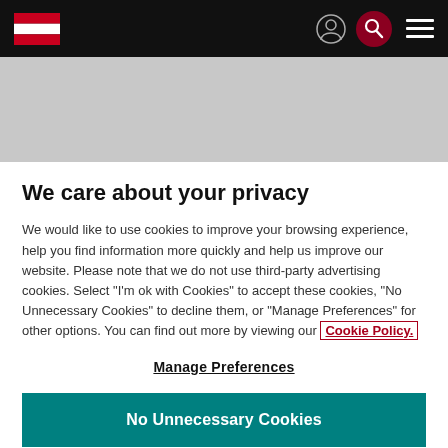[Figure (logo): Navigation bar with Austrian flag logo on the left, person icon, red search circle icon, and hamburger menu icon on the right, on black background]
[Figure (other): Grey banner/header image area]
We care about your privacy
We would like to use cookies to improve your browsing experience, help you find information more quickly and help us improve our website. Please note that we do not use third-party advertising cookies. Select "I'm ok with Cookies" to accept these cookies, "No Unnecessary Cookies" to decline them, or "Manage Preferences" for other options. You can find out more by viewing our Cookie Policy.
Manage Preferences
No Unnecessary Cookies